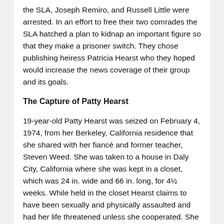the SLA, Joseph Remiro, and Russell Little were arrested. In an effort to free their two comrades the SLA hatched a plan to kidnap an important figure so that they make a prisoner switch. They chose publishing heiress Patricia Hearst who they hoped would increase the news coverage of their group and its goals.
The Capture of Patty Hearst
19-year-old Patty Hearst was seized on February 4, 1974, from her Berkeley, California residence that she shared with her fiancé and former teacher, Steven Weed. She was taken to a house in Daly City, California where she was kept in a closet, which was 24 in. wide and 66 in. long, for 4½ weeks. While held in the closet Hearst claims to have been sexually and physically assaulted and had her life threatened unless she cooperated. She was moved again to a third-floor studio apartment in a black neighborhood in northern San Francisco, #6-1827 Golden Gate Ave, where she was kept for another 4 weeks in a closet, 19 in. wide and 60 in. long. For 57 days she was held...